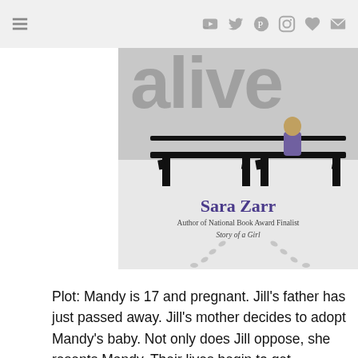Navigation bar with menu and social icons
[Figure (illustration): Book cover for 'Alive' by Sara Zarr. Shows a snowy scene with two park benches, a girl sitting on one bench with her back turned, footprints in the snow, and large blurred letters 'alive' at the top. Text reads: Sara Zarr, Author of National Book Award Finalist Story of a Girl.]
Plot: Mandy is 17 and pregnant. Jill's father has just passed away. Jill's mother decides to adopt Mandy's baby. Not only does Jill oppose, she resents Mandy. Their lives begin to get